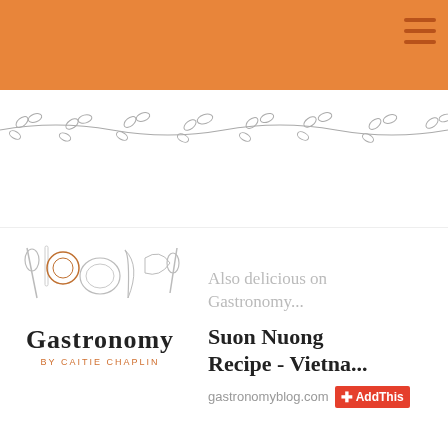Gastronomy Blog Header
[Figure (illustration): Decorative vine/leaf divider illustration in grey, spanning the width of the page]
[Figure (illustration): Gastronomy blog popup widget with kitchen utensil icons, Gastronomy logo text, and a linked recipe card for 'Suon Nuong Recipe - Vietna...' from gastronomyblog.com with AddThis share button. Also shows text 'Also delicious on Gastronomy...']
Also delicious on Gastronomy...
Suon Nuong Recipe - Vietna...
gastronomyblog.com